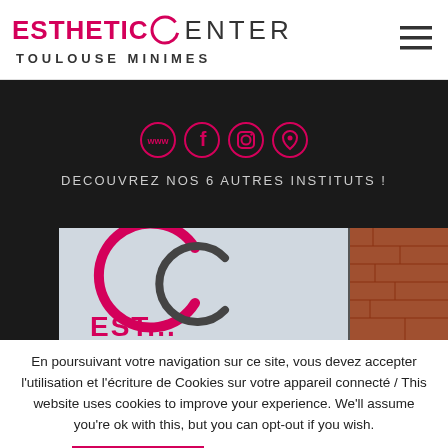[Figure (logo): Esthetic Center Toulouse Minimes logo with pink crescent C and hamburger menu icon]
[Figure (infographic): Dark banner with social media icons (www, Facebook, Instagram, location) and text DECOUVREZ NOS 6 AUTRES INSTITUTS!]
[Figure (photo): Photo of Esthetic Center storefront with pink C logo on glass and brick wall]
En poursuivant votre navigation sur ce site, vous devez accepter l'utilisation et l'écriture de Cookies sur votre appareil connecté / This website uses cookies to improve your experience. We'll assume you're ok with this, but you can opt-out if you wish.
ACCEPTER
En savoir + / Read More